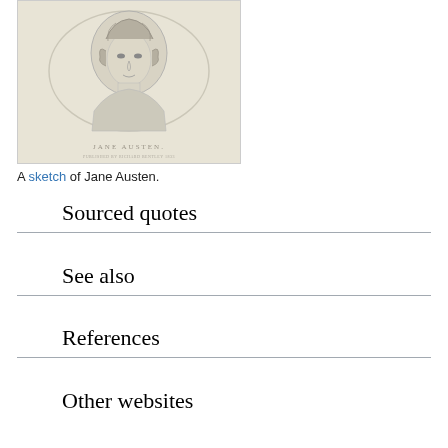[Figure (illustration): A pencil sketch portrait of Jane Austen, showing her head and upper body. Text 'JANE AUSTEN.' is engraved below the portrait within the image.]
A sketch of Jane Austen.
Sourced quotes
See also
References
Other websites